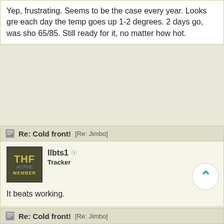Yep, frustrating. Seems to be the case every year. Looks gre each day the temp goes up 1-2 degrees. 2 days go, was sho 65/85. Still ready for it, no matter how hot.
Re: Cold front! [Re: Jimbo]
llbts1 Tracker
It beats working.
Re: Cold front! [Re: Jimbo]